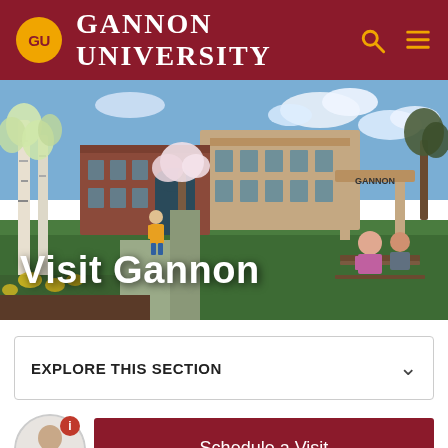GU GANNON UNIVERSITY
[Figure (photo): Campus photo showing Gannon University grounds with brick buildings, a 'GANNON' archway sign, blooming trees, green lawn, and students sitting at picnic tables on a sunny spring day.]
Visit Gannon
EXPLORE THIS SECTION
Schedule a Visit